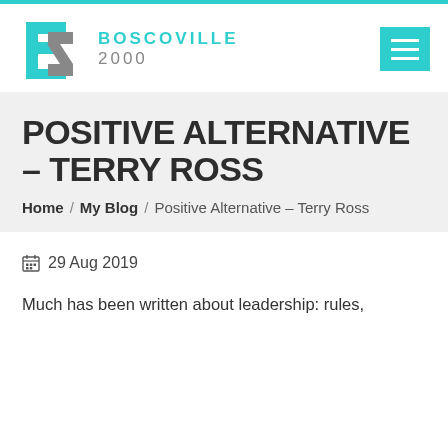[Figure (logo): Boscoville 2000 logo with teal geometric B-shaped icon and teal/grey text reading BOSCOVILLE 2000]
POSITIVE ALTERNATIVE – TERRY ROSS
Home / My Blog / Positive Alternative – Terry Ross
29 Aug 2019
Much has been written about leadership: rules,